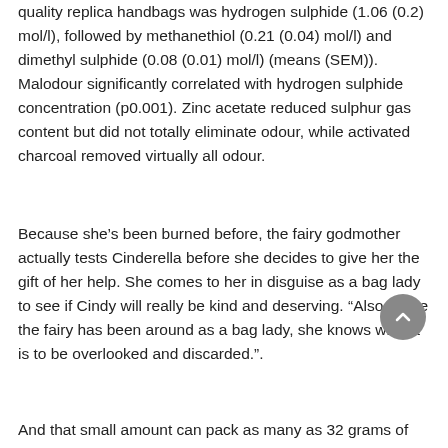quality replica handbags was hydrogen sulphide (1.06 (0.2) mol/l), followed by methanethiol (0.21 (0.04) mol/l) and dimethyl sulphide (0.08 (0.01) mol/l) (means (SEM)). Malodour significantly correlated with hydrogen sulphide concentration (p0.001). Zinc acetate reduced sulphur gas content but did not totally eliminate odour, while activated charcoal removed virtually all odour.
Because she's been burned before, the fairy godmother actually tests Cinderella before she decides to give her the gift of her help. She comes to her in disguise as a bag lady to see if Cindy will really be kind and deserving. "Also, since the fairy has been around as a bag lady, she knows what it is to be overlooked and discarded.".
And that small amount can pack as many as 32 grams of